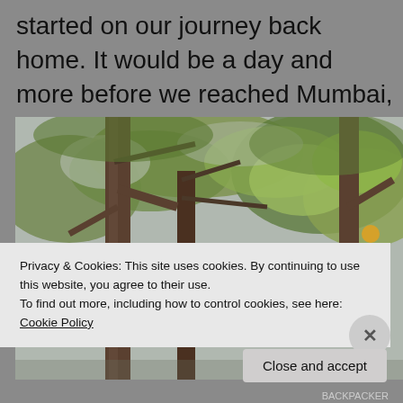started on our journey back home. It would be a day and more before we reached Mumbai, but our holiday was over.
[Figure (photo): Forest canopy photograph showing tree trunks and branches with green leaves against a grey sky, taken from ground level looking upward.]
Privacy & Cookies: This site uses cookies. By continuing to use this website, you agree to their use.
To find out more, including how to control cookies, see here: Cookie Policy